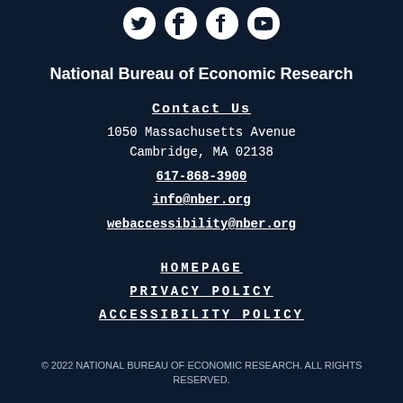[Figure (illustration): Four circular social media icons: Twitter, LinkedIn, Facebook, YouTube on dark navy background]
National Bureau of Economic Research
Contact Us
1050 Massachusetts Avenue
Cambridge, MA 02138
617-868-3900
info@nber.org
webaccessibility@nber.org
HOMEPAGE
PRIVACY POLICY
ACCESSIBILITY POLICY
© 2022 NATIONAL BUREAU OF ECONOMIC RESEARCH. ALL RIGHTS RESERVED.